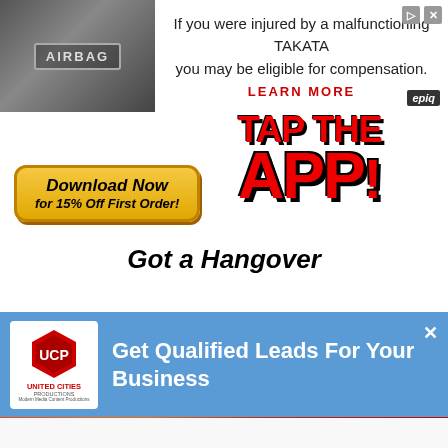[Figure (screenshot): Top banner advertisement: airbag image on left with text about TAKATA malfunctioning airbag compensation and LEARN MORE call to action with epia badge]
[Figure (screenshot): Comic-style app advertisement showing TAP THE APP graphic with Download Now for 15% Off First Order button and Got a Hangover text]
[Figure (screenshot): Blue banner ad for United Cities Productions: Get Qualified Leads For Your Business]
[Figure (screenshot): BitLife game advertisement with FAIL text, fire/character imagery, and START A NEW LIFE button]